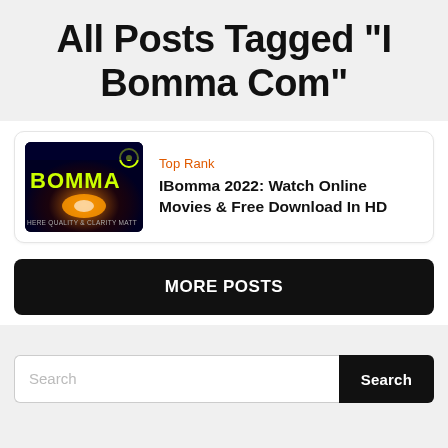All Posts Tagged "I Bomma Com"
[Figure (screenshot): IBomma website logo thumbnail showing BOMMA text in yellow-green on dark blue/black background with orange glow and text 'HERE QUALITY & CLARITY MATT']
Top Rank
IBomma 2022: Watch Online Movies & Free Download In HD
MORE POSTS
Search